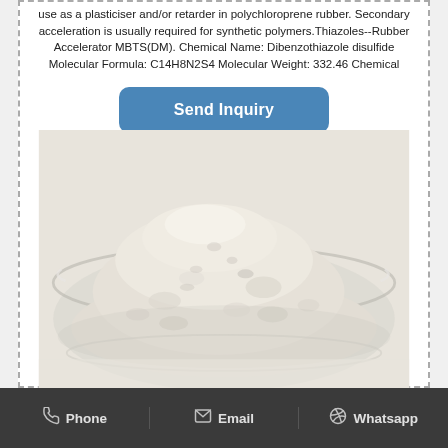use as a plasticiser and/or retarder in polychloroprene rubber. Secondary acceleration is usually required for synthetic polymers.Thiazoles--Rubber Accelerator MBTS(DM). Chemical Name: Dibenzothiazole disulfide Molecular Formula: C14H8N2S4 Molecular Weight: 332.46 Chemical
[Figure (other): Button with text 'Send Inquiry' in blue rounded rectangle]
[Figure (photo): Photo of a white/beige powder (rubber accelerator MBTS/DM) in a clear glass bowl, photographed from slightly above on a white background.]
Phone   Email   Whatsapp